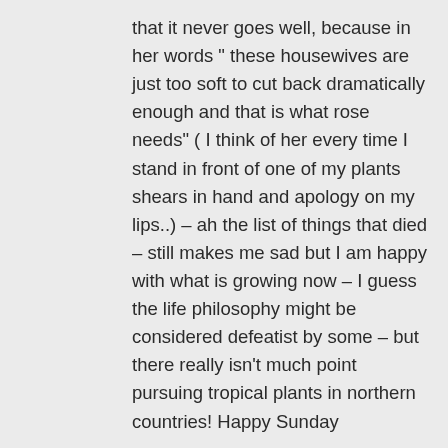that it never goes well, because in her words " these housewives are just too soft to cut back dramatically enough and that is what rose needs" ( I think of her every time I stand in front of one of my plants shears in hand and apology on my lips..) – ah the list of things that died – still makes me sad but I am happy with what is growing now – I guess the life philosophy might be considered defeatist by some – but there really isn't much point pursuing tropical plants in northern countries! Happy Sunday